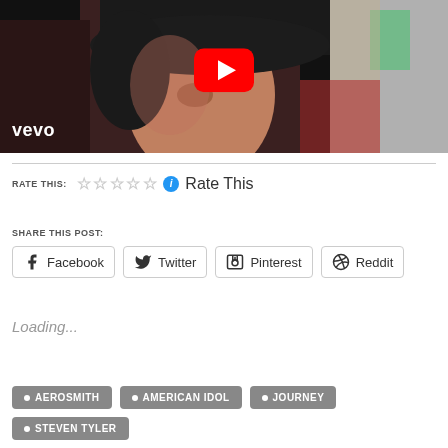[Figure (screenshot): YouTube/Vevo video thumbnail showing a person with dark curly hair and a wide-brimmed hat, with vevo logo in bottom left and YouTube play button overlay]
RATE THIS: ☆☆☆☆☆ ℹ Rate This
SHARE THIS POST:
Facebook  Twitter  Pinterest  Reddit
Loading...
• AEROSMITH
• AMERICAN IDOL
• JOURNEY
• STEVEN TYLER